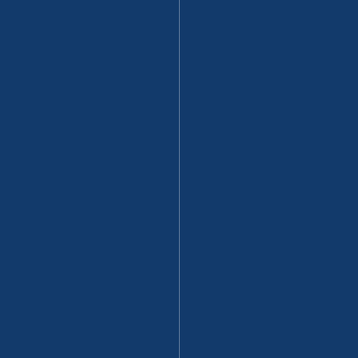[Figure (other): Dark navy blue background page with a faint vertical white line running from top to bottom near the center-left. On the right half, vertical italic white text reading 'embers of society who were strugg' arranged character by character top to bottom.]